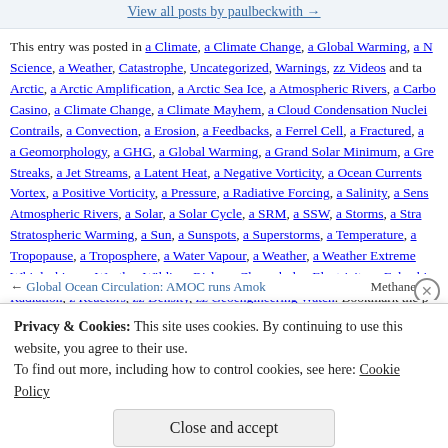View all posts by paulbeckwith →
This entry was posted in a Climate, a Climate Change, a Global Warming, a New Science, a Weather, Catastrophe, Uncategorized, Warnings, zz Videos and tagged a Arctic, a Arctic Amplification, a Arctic Sea Ice, a Atmospheric Rivers, a Carbon Casino, a Climate Change, a Climate Mayhem, a Cloud Condensation Nuclei, Contrails, a Convection, a Erosion, a Feedbacks, a Ferrel Cell, a Fractured, a Geomorphology, a GHG, a Global Warming, a Grand Solar Minimum, a Gre… Streaks, a Jet Streams, a Latent Heat, a Negative Vorticity, a Ocean Currents… Vortex, a Positive Vorticity, a Pressure, a Radiative Forcing, a Salinity, a Sens… Atmospheric Rivers, a Solar, a Solar Cycle, a SRM, a SSW, a Storms, a Stra… Stratospheric Warming, a Sun, a Sunspots, a Superstorms, a Temperature, a Tropopause, a Troposphere, a Water Vapour, a Weather, a Weather Extreme… Whiplashing, a Weather Wilding, Risks, z Chernobyl, z Electricity, z Fukushim… Radiation, z Reactors, zz Density, zz Geoengineering Watch. Bookmark the p
← Global Ocean Circulation: AMOC runs Amok   Methane…
Privacy & Cookies: This site uses cookies. By continuing to use this website, you agree to their use.
To find out more, including how to control cookies, see here: Cookie Policy
Close and accept